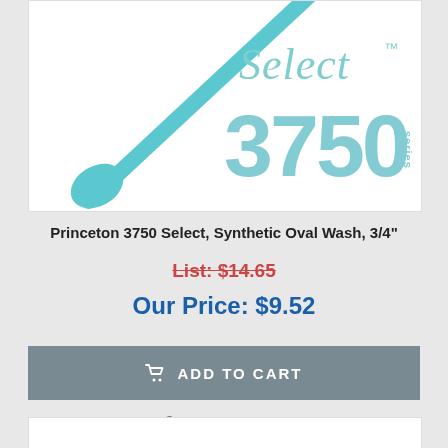[Figure (photo): Product image showing Princeton 3750 Select brush with teal/cyan colored handle and tip, with 'Select' script text and '3750 series' branding in teal on white background]
Princeton 3750 Select, Synthetic Oval Wash, 3/4"
List: $14.65
Our Price: $9.52
ADD TO CART
QUICK VIEW